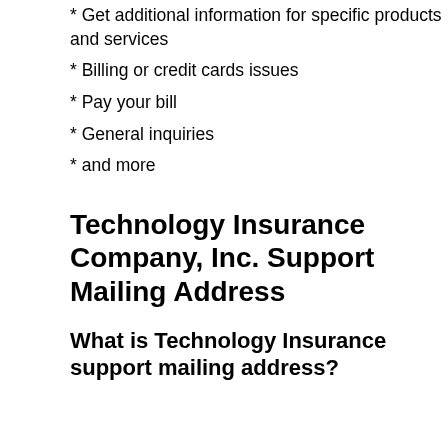* Get additional information for specific products and services
* Billing or credit cards issues
* Pay your bill
* General inquiries
* and more
Technology Insurance Company, Inc. Support Mailing Address
What is Technology Insurance support mailing address?